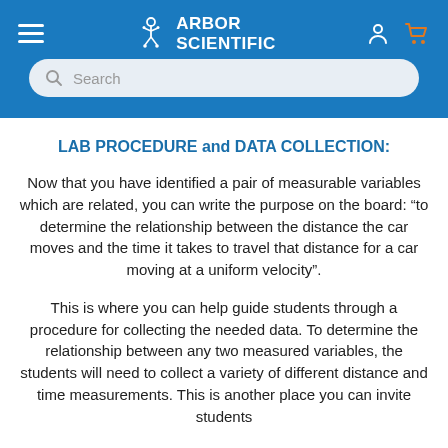Arbor Scientific
LAB PROCEDURE and DATA COLLECTION:
Now that you have identified a pair of measurable variables which are related, you can write the purpose on the board: “to determine the relationship between the distance the car moves and the time it takes to travel that distance for a car moving at a uniform velocity”.
This is where you can help guide students through a procedure for collecting the needed data. To determine the relationship between any two measured variables, the students will need to collect a variety of different distance and time measurements. This is another place you can invite students into the show the purpose of data collection with more...